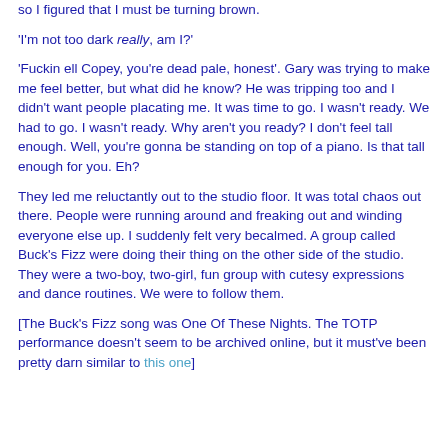so I figured that I must be turning brown.
'I'm not too dark really, am I?'
'Fuckin ell Copey, you're dead pale, honest'. Gary was trying to make me feel better, but what did he know? He was tripping too and I didn't want people placating me. It was time to go. I wasn't ready. We had to go. I wasn't ready. Why aren't you ready? I don't feel tall enough. Well, you're gonna be standing on top of a piano. Is that tall enough for you. Eh?
They led me reluctantly out to the studio floor. It was total chaos out there. People were running around and freaking out and winding everyone else up. I suddenly felt very becalmed. A group called Buck's Fizz were doing their thing on the other side of the studio. They were a two-boy, two-girl, fun group with cutesy expressions and dance routines. We were to follow them.
[The Buck's Fizz song was One Of These Nights. The TOTP performance doesn't seem to be archived online, but it must've been pretty darn similar to this one]